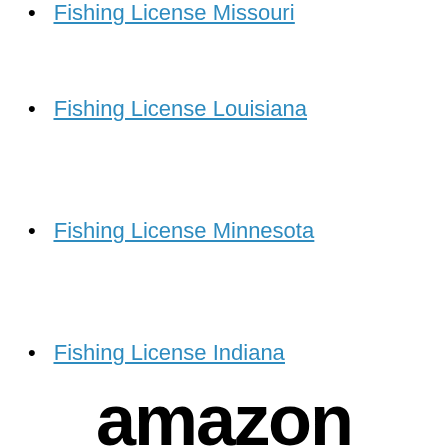Fishing License Missouri
Fishing License Louisiana
Fishing License Minnesota
Fishing License Indiana
Wisconsin Fishing License
North Dakota Fishing License
[Figure (logo): Amazon logo in bold black text]